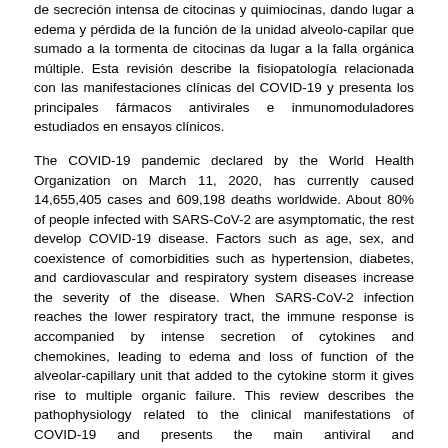de secreción intensa de citocinas y quimiocinas, dando lugar a edema y pérdida de la función de la unidad alveolo-capilar que sumado a la tormenta de citocinas da lugar a la falla orgánica múltiple. Esta revisión describe la fisiopatología relacionada con las manifestaciones clínicas del COVID-19 y presenta los principales fármacos antivirales e inmunomoduladores estudiados en ensayos clínicos.
The COVID-19 pandemic declared by the World Health Organization on March 11, 2020, has currently caused 14,655,405 cases and 609,198 deaths worldwide. About 80% of people infected with SARS-CoV-2 are asymptomatic, the rest develop COVID-19 disease. Factors such as age, sex, and coexistence of comorbidities such as hypertension, diabetes, and cardiovascular and respiratory system diseases increase the severity of the disease. When SARS-CoV-2 infection reaches the lower respiratory tract, the immune response is accompanied by intense secretion of cytokines and chemokines, leading to edema and loss of function of the alveolar-capillary unit that added to the cytokine storm it gives rise to multiple organic failure. This review describes the pathophysiology related to the clinical manifestations of COVID-19 and presents the main antiviral and immunomodulatory drugs studied in clinical trials.